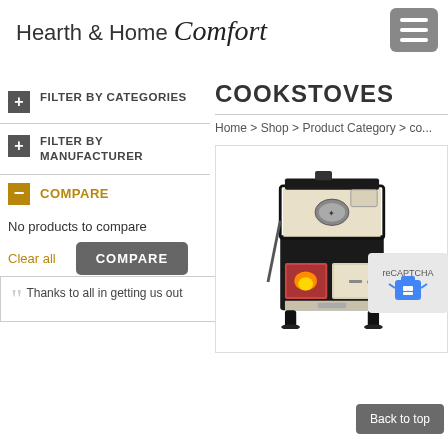Hearth & Home Comfort
+ FILTER BY CATEGORIES
+ FILTER BY MANUFACTURER
- COMPARE
No products to compare
Clear all   COMPARE
- Testimonials
COOKSTOVES
Home > Shop > Product Category > co...
[Figure (photo): Black and cream vintage wood cookstove with open firebox door and oven compartment]
Back to top
Thanks to all in getting us out